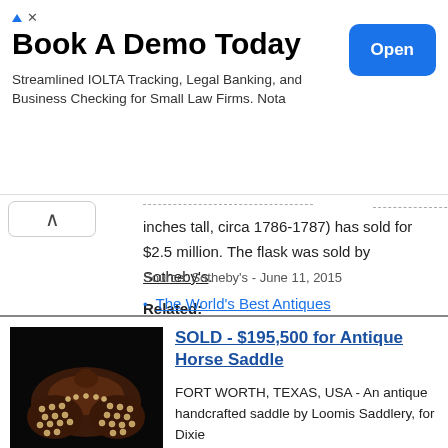[Figure (other): Advertisement banner: Book A Demo Today - Streamlined IOLTA Tracking, Legal Banking, and Business Checking for Small Law Firms. Nota - with Open button]
inches tall, circa 1786-1787) has sold for $2.5 million. The flask was sold by Sotheby's.
Source: Sotheby's - June 11, 2015
Related:
The World's Best Antiques
[Figure (photo): Photo of an antique horse saddle decorated with silver studs/conchos on dark background]
SOLD - $195,500 for Antique Horse Saddle
FORT WORTH, TEXAS, USA - An antique handcrafted saddle by Loomis Saddlery, for Dixie